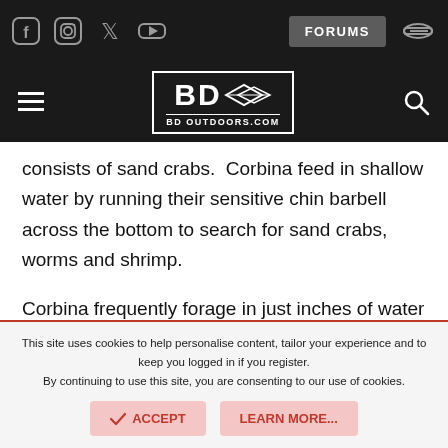BD Outdoors - FORUMS navigation header with social icons
[Figure (logo): BD Outdoors logo with fish icon, BD OUTDOORS.COM text in white box on dark background]
consists of sand crabs.  Corbina feed in shallow water by running their sensitive chin barbell across the bottom to search for sand crabs, worms and shrimp.
Corbina frequently forage in just inches of water and beachgoers are often surprised when one swims between their legs.  They use the incoming tide and wave motion to
This site uses cookies to help personalise content, tailor your experience and to keep you logged in if you register.
By continuing to use this site, you are consenting to our use of cookies.
ACCEPT   LEARN MORE...